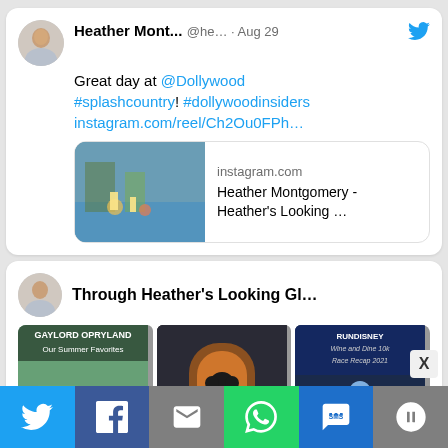[Figure (screenshot): Tweet by Heather Mont... @he... Aug 29 - Great day at @Dollywood #splashcountry! #dollywoodinsiders instagram.com/reel/Ch2Ou0FPh... with link preview showing instagram.com and Heather Montgomery - Heather's Looking ...]
[Figure (screenshot): Instagram embed card showing Through Heather's Looking Gl... with three images: Gaylord Opryland Our Summer Favorites, Pros and Cons of Driving or Flying to Disney World, and RunDisney Wine and Dine 10k Race Recap 2021]
[Figure (screenshot): Share bar at bottom with Twitter, Facebook, Email, WhatsApp, SMS, and More buttons]